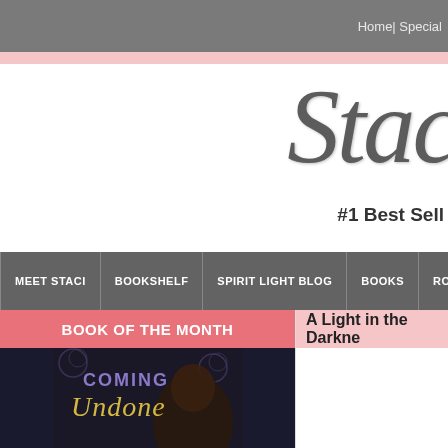Home| Special
Stac
#1 Best Sell
MEET STACI | BOOKSHELF | SPIRIT LIGHT BLOG | BOOKS | ROMA
BOOK OF THE MONTH
[Figure (illustration): Book cover for 'Coming Undone' showing stylized script text 'COMING Undone' on a dark background with decorative swirls and a person's image]
A Light in the Darkne